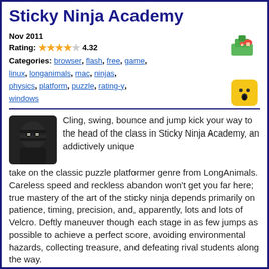Sticky Ninja Academy
Nov 2011
Rating: 4.32
Categories: browser, flash, free, game, linux, longanimals, mac, ninjas, physics, platform, puzzle, rating-y, windows
[Figure (illustration): Isometric pixel art game icon showing green land/island tiles with mushrooms or trees]
[Figure (illustration): Yellow square emoji-style icon with a surprised face]
[Figure (illustration): Dark square ninja character icon with glowing eyes]
Cling, swing, bounce and jump kick your way to the head of the class in Sticky Ninja Academy, an addictively unique take on the classic puzzle platformer genre from LongAnimals. Careless speed and reckless abandon won't get you far here; true mastery of the art of the sticky ninja depends primarily on patience, timing, precision, and, apparently, lots and lots of Velcro. Deftly maneuver though each stage in as few jumps as possible to achieve a perfect score, avoiding environmental hazards, collecting treasure, and defeating rival students along the way.
Puzzle Thief